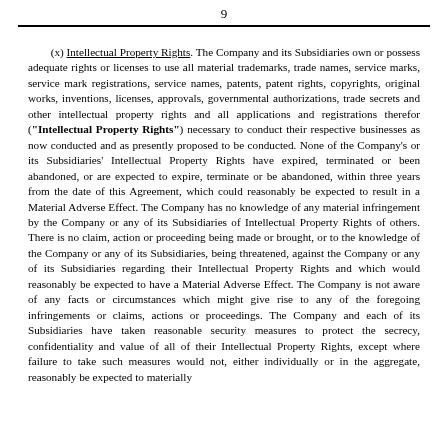9
(x) Intellectual Property Rights. The Company and its Subsidiaries own or possess adequate rights or licenses to use all material trademarks, trade names, service marks, service mark registrations, service names, patents, patent rights, copyrights, original works, inventions, licenses, approvals, governmental authorizations, trade secrets and other intellectual property rights and all applications and registrations therefor (“Intellectual Property Rights”) necessary to conduct their respective businesses as now conducted and as presently proposed to be conducted. None of the Company’s or its Subsidiaries’ Intellectual Property Rights have expired, terminated or been abandoned, or are expected to expire, terminate or be abandoned, within three years from the date of this Agreement, which could reasonably be expected to result in a Material Adverse Effect. The Company has no knowledge of any material infringement by the Company or any of its Subsidiaries of Intellectual Property Rights of others. There is no claim, action or proceeding being made or brought, or to the knowledge of the Company or any of its Subsidiaries, being threatened, against the Company or any of its Subsidiaries regarding their Intellectual Property Rights and which would reasonably be expected to have a Material Adverse Effect. The Company is not aware of any facts or circumstances which might give rise to any of the foregoing infringements or claims, actions or proceedings. The Company and each of its Subsidiaries have taken reasonable security measures to protect the secrecy, confidentiality and value of all of their Intellectual Property Rights, except where failure to take such measures would not, either individually or in the aggregate, reasonably be expected to materially